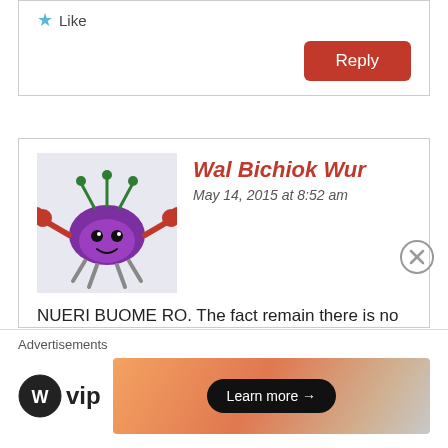Like
Reply
Wal Bichiok Wur
May 14, 2015 at 8:52 am
[Figure (illustration): Purple cartoon crab avatar with green antennae and red claws]
NUERI BUOME RO. The fact remain there is no different between 1990 Somalia and 2014/2015 South Sudan.There is no image left that we can refer to or being proud of as a country.Every thing is destroyed by Salva Kiir greediness .I have never seen nation
Advertisements
[Figure (logo): WordPress VIP logo with WP circle icon]
[Figure (infographic): Gradient orange advertisement banner with Learn more arrow button]